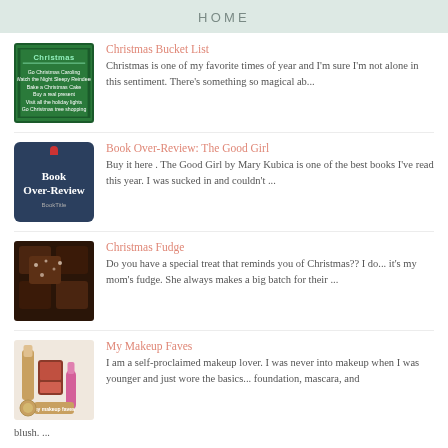HOME
Christmas Bucket List
Christmas is one of my favorite times of year and I'm sure I'm not alone in this sentiment. There's something so magical ab...
Book Over-Review: The Good Girl
Buy it here .  The Good Girl by Mary Kubica is one of the best books I've read this year. I was sucked in and couldn't ...
Christmas Fudge
Do you have a special treat that reminds you of Christmas?? I do... it's my mom's fudge. She always makes a big batch for their ...
My Makeup Faves
I am a self-proclaimed makeup lover. I was never into makeup when I was younger and just wore the basics... foundation, mascara, and blush. ...